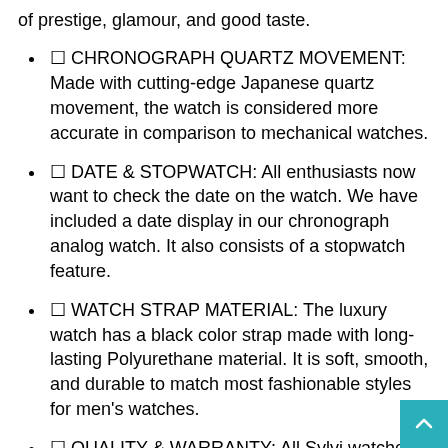of prestige, glamour, and good taste.
⛾ CHRONOGRAPH QUARTZ MOVEMENT: Made with cutting-edge Japanese quartz movement, the watch is considered more accurate in comparison to mechanical watches.
⛾ DATE & STOPWATCH: All enthusiasts now want to check the date on the watch. We have included a date display in our chronograph analog watch. It also consists of a stopwatch feature.
⛾ WATCH STRAP MATERIAL: The luxury watch has a black color strap made with long-lasting Polyurethane material. It is soft, smooth, and durable to match most fashionable styles for men's watches.
⛾ QUALITY & WARRANTY: All Sylvi watches are crafted from the best quality materials. Moreover, we offer a 6-month warranty on all our watches for manufacturing defects.